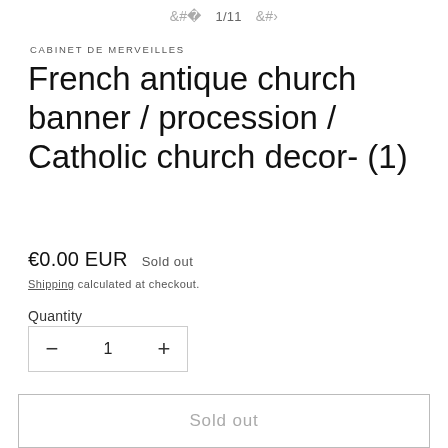< 1/11 >
CABINET DE MERVEILLES
French antique church banner / procession / Catholic church decor- (1)
€0.00 EUR   Sold out
Shipping calculated at checkout.
Quantity
− 1 +
Sold out